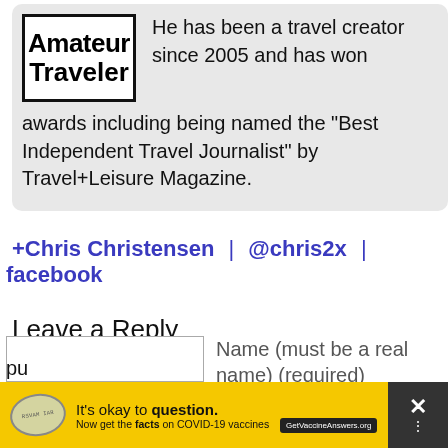[Figure (logo): Amateur Traveler logo in a bordered box]
He has been a travel creator since 2005 and has won awards including being named the "Best Independent Travel Journalist" by Travel+Leisure Magazine.
+Chris Christensen | @chris2x | facebook
Leave a Reply
Name (must be a real name) (required)
Mail (will not be published) (required)
[Figure (infographic): Yellow COVID-19 vaccine advertisement banner: It's okay to question. Now get the facts on COVID-19 vaccines GetVaccineAnswers.org]